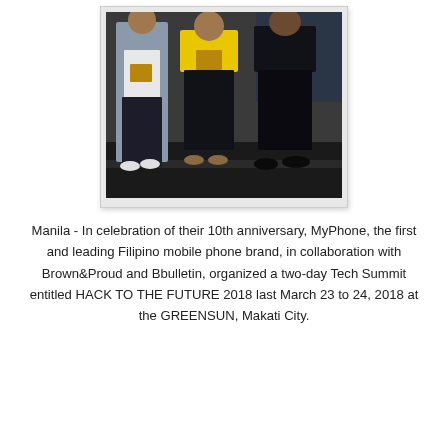[Figure (photo): A photograph showing three people standing on a dark stage. A person on the left in a light blue jacket and white t-shirt holds a wooden box. A person in the middle wearing a yellow top and black pants, and a person on the right in all black clothing. A banner in the background partially shows the words 'hack' and 'tru'.]
Manila - In celebration of their 10th anniversary, MyPhone, the first and leading Filipino mobile phone brand, in collaboration with Brown&Proud and Bbulletin, organized a two-day Tech Summit entitled HACK TO THE FUTURE 2018 last March 23 to 24, 2018 at the GREENSUN, Makati City.